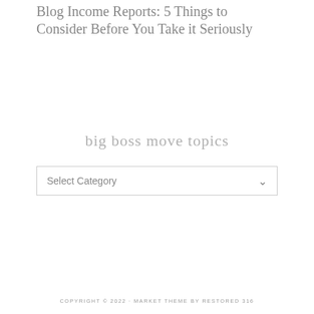Blog Income Reports: 5 Things to Consider Before You Take it Seriously
big boss move topics
Select Category
COPYRIGHT © 2022 · MARKET THEME BY RESTORED 316